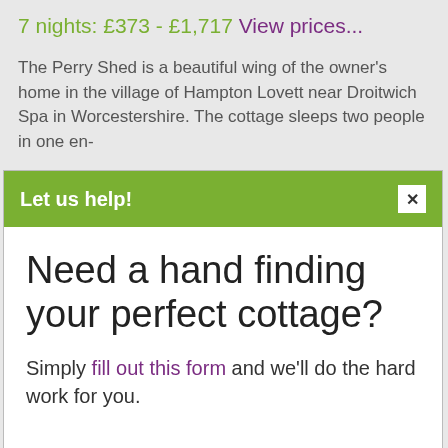7 nights: £373 - £1,717 View prices...
The Perry Shed is a beautiful wing of the owner's home in the village of Hampton Lovett near Droitwich Spa in Worcestershire. The cottage sleeps two people in one en-
Let us help!
Need a hand finding your perfect cottage?
Simply fill out this form and we'll do the hard work for you.
Availability & Pricing
Step 1
Select your length of stay
This may alter the available start days